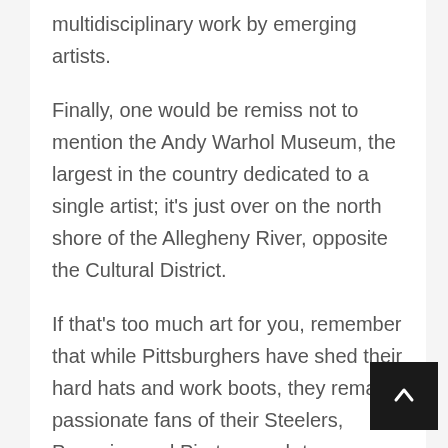multidisciplinary work by emerging artists.
Finally, one would be remiss not to mention the Andy Warhol Museum, the largest in the country dedicated to a single artist; it's just over on the north shore of the Allegheny River, opposite the Cultural District.
If that's too much art for you, remember that while Pittsburghers have shed their hard hats and work boots, they remain passionate fans of their Steelers, Penguins and Pirates, each team calling downtown home. A short trip from the Cultural District proper and you're at the Western Pennsylvania Sports Museum at the